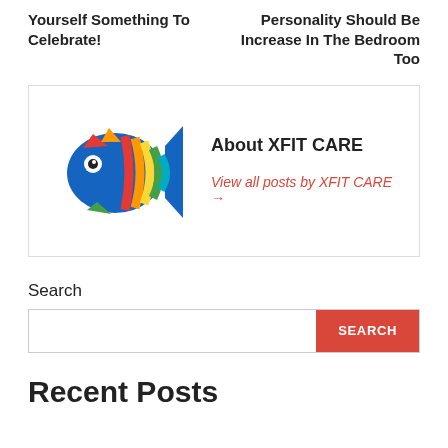Yourself Something To Celebrate!
Personality Should Be Increase In The Bedroom Too
[Figure (logo): Colorful fish logo for XFIT CARE]
About XFIT CARE
View all posts by XFIT CARE →
Search
SEARCH
Recent Posts